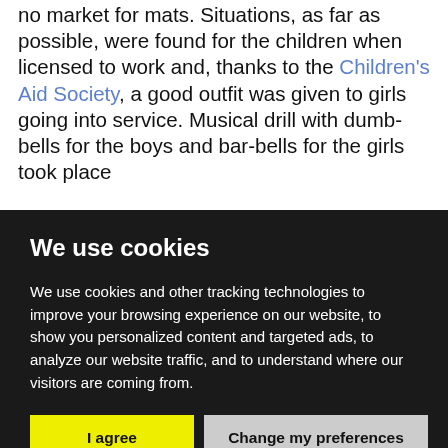no market for mats. Situations, as far as possible, were found for the children when licensed to work and, thanks to the Children's Aid Society, a good outfit was given to girls going into service. Musical drill with dumb-bells for the boys and bar-bells for the girls took place
We use cookies
We use cookies and other tracking technologies to improve your browsing experience on our website, to show you personalized content and targeted ads, to analyze our website traffic, and to understand where our visitors are coming from.